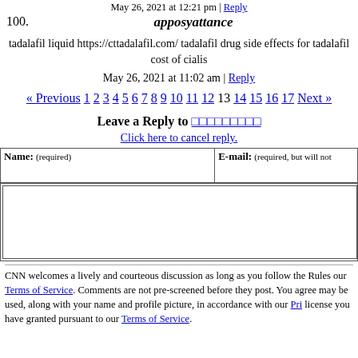May 26, 2021 at 12:21 pm | Reply
100. apposyattance
tadalafil liquid https://cttadalafil.com/ tadalafil drug side effects for tadalafil cost of cialis
May 26, 2021 at 11:02 am | Reply
« Previous 1 2 3 4 5 6 7 8 9 10 11 12 13 14 15 16 17 Next »
Leave a Reply to [user]
Click here to cancel reply.
Name: (required) | E-mail: (required, but will not be published)
CNN welcomes a lively and courteous discussion as long as you follow the Rules of our Terms of Service. Comments are not pre-screened before they post. You agree that anything you post may be used, along with your name and profile picture, in accordance with our Pri... license you have granted pursuant to our Terms of Service.